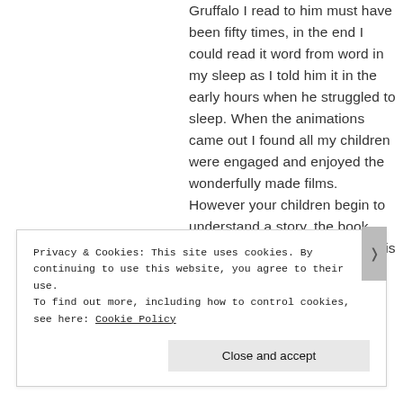Gruffalo I read to him must have been fifty times, in the end I could read it word from word in my sleep as I told him it in the early hours when he struggled to sleep. When the animations came out I found all my children were engaged and enjoyed the wonderfully made films. However your children begin to understand a story, the book may be the first or last visual it is the opportunity to enjoy it whatever their learning ability!
Privacy & Cookies: This site uses cookies. By continuing to use this website, you agree to their use.
To find out more, including how to control cookies, see here: Cookie Policy
Close and accept